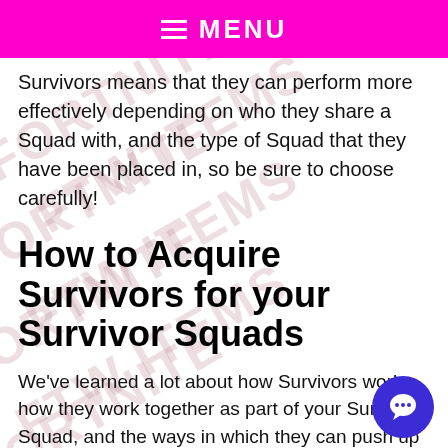MENU
Survivors means that they can perform more effectively depending on who they share a Squad with, and the type of Squad that they have been placed in, so be sure to choose carefully!
How to Acquire Survivors for your Survivor Squads
We've learned a lot about how Survivors work, how they work together as part of your Survivor Squad, and the ways in which they can push up your power level, but where can you get your hands on them?
A player can obtain Survivors as part of mission